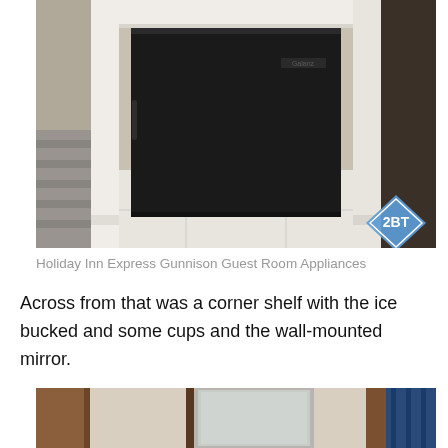[Figure (photo): Photo of a black mini-refrigerator under a white desk/shelf in a hotel guest room. A blue diamond-shaped '2BT' watermark is visible in the bottom right corner.]
Holiday Inn Express Gunnison Guest Room Appliances
Across from that was a corner shelf with the ice bucked and some cups and the wall-mounted mirror.
[Figure (photo): Bottom portion of a photo showing a hotel room corner with wooden door frames and a wall-mounted mirror, with blue curtain visible on the right.]